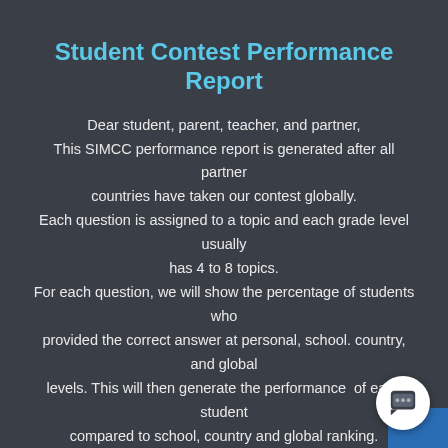Student Contest Performance Report
Dear student, parent, teacher, and partner,
This SIMCC performance report is generated after all partner countries have taken our contest globally.
Each question is assigned to a topic and each grade level usually has 4 to 8 topics.
For each question, we will show the percentage of students who provided the correct answer at personal, school. country, and global levels. This will then generate the performance  of each student compared to school, country and global ranking.
It will show you topics where you have strong skills and also topics where you can improve further.  This report will also help your teacher identify topics she/he needs to focus on in her teaching to help you improve so you can attain Recognition and SUCCESS!
I am confident that all of you will improve and soon you will be